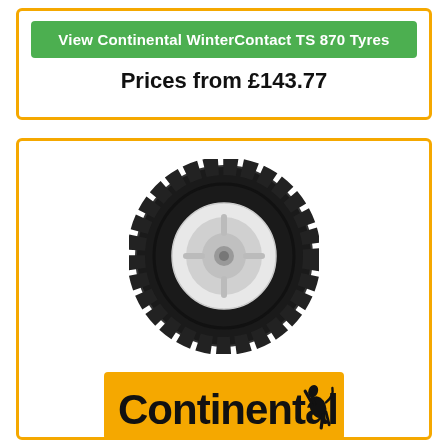View Continental WinterContact TS 870 Tyres
Prices from £143.77
[Figure (photo): Continental Contact CT22 tyre on a white steel wheel rim]
[Figure (logo): Continental brand logo — orange rectangle background with black Continental text and rearing horse icon]
Contact CT22